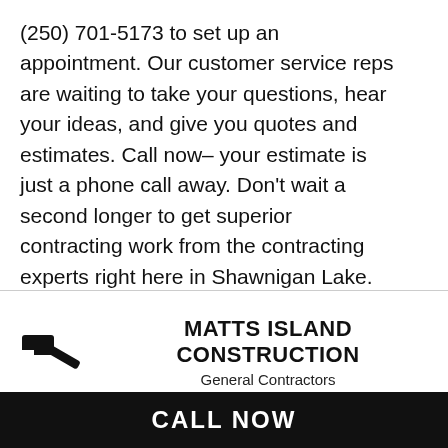(250) 701-5173 to set up an appointment. Our customer service reps are waiting to take your questions, hear your ideas, and give you quotes and estimates. Call now– your estimate is just a phone call away. Don't wait a second longer to get superior contracting work from the contracting experts right here in Shawnigan Lake.
[Figure (logo): Black hammer icon logo for Matts Island Construction]
MATTS ISLAND CONSTRUCTION
General Contractors
Shawnigan Lake BC V0R 2W0
CALL NOW